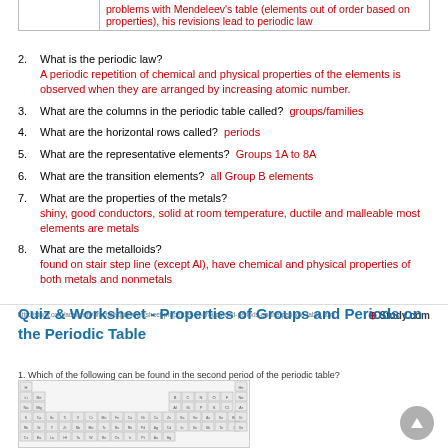|  |  |
| --- | --- |
|  | problems with Mendeleev's table (elements out of order based on properties), his revisions lead to periodic law |
2. What is the periodic law? A periodic repetition of chemical and physical properties of the elements is observed when they are arranged by increasing atomic number.
3. What are the columns in the periodic table called? groups/families
4. What are the horizontal rows called? periods
5. What are the representative elements? Groups 1A to 8A
6. What are the transition elements? all Group B elements
7. What are the properties of the metals? shiny, good conductors, solid at room temperature, ductile and malleable most elements are metals
8. What are the metalloids? found on stair step line (except Al), have chemical and physical properties of both metals and nonmetals
http://study.com/academy/practice/quiz-worksheet-properties-of-groups-and-periods-on-the-periodic-table.html
Study.com
Quiz & Worksheet - Properties of Groups and Periods on the Periodic Table
1. Which of the following can be found in the second period of the periodic table?
[Figure (other): Partial periodic table of elements diagram]